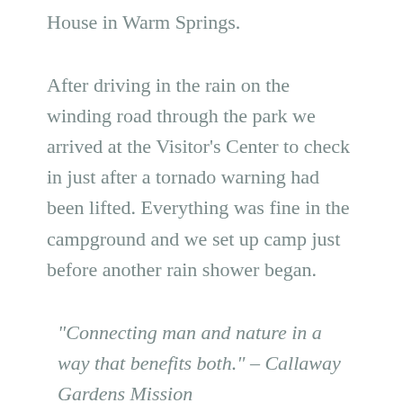House in Warm Springs.
After driving in the rain on the winding road through the park we arrived at the Visitor's Center to check in just after a tornado warning had been lifted. Everything was fine in the campground and we set up camp just before another rain shower began.
“Connecting man and nature in a way that benefits both.” – Callaway Gardens Mission
With the sun shining the next morning we